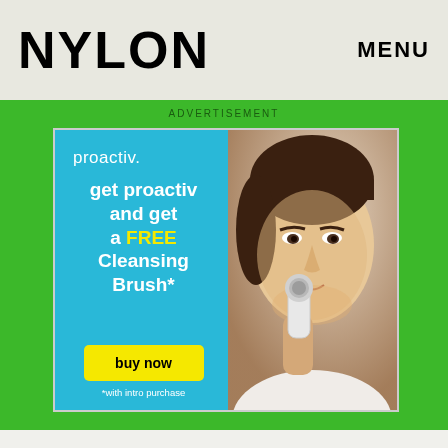NYLON   MENU
ADVERTISEMENT
[Figure (infographic): Proactiv advertisement showing left blue panel with text 'proactiv.' brand logo, tagline 'get proactiv and get a FREE Cleansing Brush*', a yellow 'buy now' button, disclaimer '*with intro purchase', and right panel showing photo of young woman using a cleansing brush on her face.]